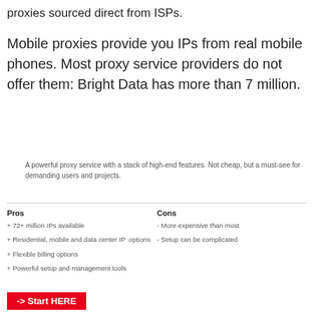proxies sourced direct from ISPs.
Mobile proxies provide you IPs from real mobile phones. Most proxy service providers do not offer them: Bright Data has more than 7 million.
A powerful proxy service with a stack of high-end features. Not cheap, but a must-see for demanding users and projects.
+ 72+ million IPs available
+ Residential, mobile and data center IP options
+ Flexible billing options
+ Powerful setup and management tools
- More expensive than most
- Setup can be complicated
-> Start HERE